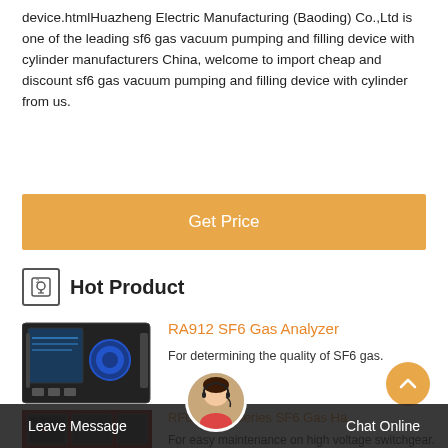device.htmlHuazheng Electric Manufacturing (Baoding) Co.,Ltd is one of the leading sf6 gas vacuum pumping and filling device with cylinder manufacturers China, welcome to import cheap and discount sf6 gas vacuum pumping and filling device with cylinder from us.
[Figure (other): Orange 'Get Price' button]
Hot Product
[Figure (photo): Photo of RA912 SF6 Gas Analyzer device]
RA912 SF6 Gas Analyzer
For determining the quality of SF6 gas.
[Figure (photo): Partial photo of RF051 series SF6 Gas Handler device]
RF051...ny Series SF6 Gas Ha...
For easy maintenance on high voltage switchgear.
Leave Message   Chat Online